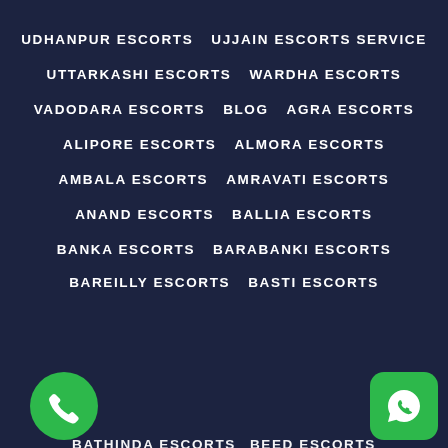UDHANPUR ESCORTS   UJJAIN ESCORTS SERVICE
UTTARKASHI ESCORTS   WARDHA ESCORTS
VADODARA ESCORTS   BLOG   AGRA ESCORTS
ALIPORE ESCORTS   ALMORA ESCORTS
AMBALA ESCORTS   AMRAVATI ESCORTS
ANAND ESCORTS   BALLIA ESCORTS
BANKA ESCORTS   BARABANKI ESCORTS
BAREILLY ESCORTS   BASTI ESCORTS
BATHINDA ESCORTS   BEED ESCORTS